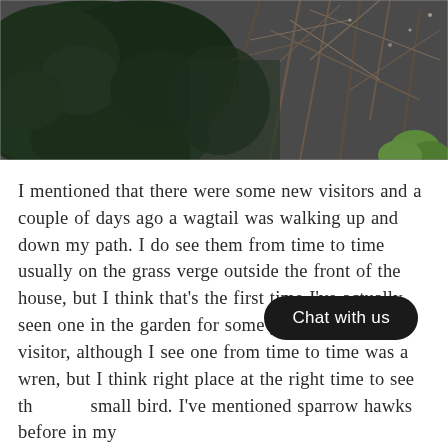[Figure (photo): Outdoor garden/nature photo showing dense dark green shrubs and bare winter branches against a grey sky, with a small patch of green foliage in the bottom right corner.]
I mentioned that there were some new visitors and a couple of days ago a wagtail was walking up and down my path. I do see them from time to time usually on the grass verge outside the front of the house, but I think that's the first time I've actually seen one in the garden for some years. Another visitor, although I see one from time to time was a wren, but I think [Chat with us] right place at the right time to see th[is] small bird. I've mentioned sparrow hawks before in my